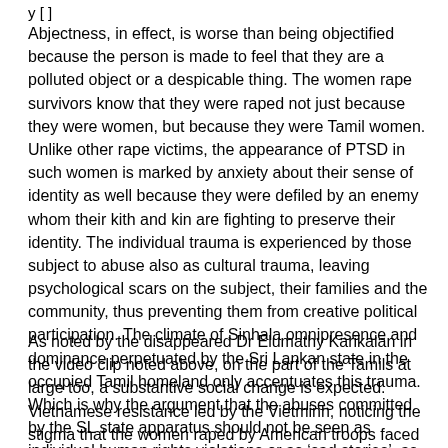y [ ]
Abjectness, in effect, is worse than being objectified because the person is made to feel that they are a polluted object or a despicable thing. The women rape survivors know that they were raped not just because they were women, but because they were Tamil women. Unlike other rape victims, the appearance of PTSD in such women is marked by anxiety about their sense of identity as well because they were defiled by an enemy whom their kith and kin are fighting to preserve their identity. The individual trauma is experienced by those subject to abuse also as cultural trauma, leaving psychological scars on the subject, their families and the community, thus preventing them from creative political participation. The climate of Sinhala omnipresence and dominance perpetuated by the Sri Lankan state in the occupied Tamil homeland only accentuates this trauma. Which is why the argument that the abuses committed by the SL state apparatus should not be seen as individual human rights violations or as ‘sad stories’, as is the fashion with some liberal bleeding hearts, but rather as part and parcel of an intended genocide of a protracted nature.
As noted by the disappeared Dr Elumathy Karikalan in the video clip noted above, on the part of the Tamils at large too, a substantive social change is expected. Vietnamese resistance led by the Vietminh, noticing the stigma that the women raped by American troops faced from their society, declared rape survivors